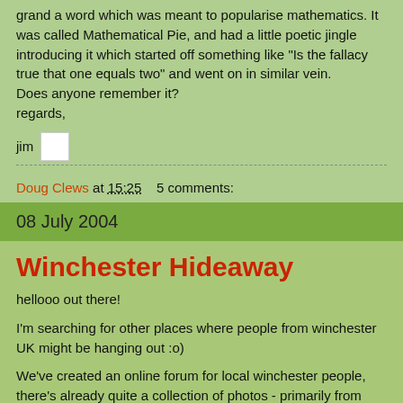grand a word which was meant to popularise mathematics. It was called Mathematical Pie, and had a little poetic jingle introducing it which started off something like "Is the fallacy true that one equals two" and went on in similar vein.
Does anyone remember it?
regards,
jim
Doug Clews at 15:25    5 comments:
08 July 2004
Winchester Hideaway
hellooo out there!
I'm searching for other places where people from winchester UK might be hanging out :o)
We've created an online forum for local winchester people, there's already quite a collection of photos - primarily from nights out, but there's some